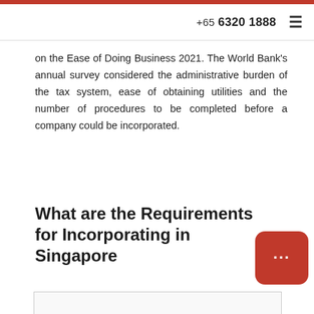+65 6320 1888
on the Ease of Doing Business 2021. The World Bank's annual survey considered the administrative burden of the tax system, ease of obtaining utilities and the number of procedures to be completed before a company could be incorporated.
What are the Requirements for Incorporating in Singapore
[Figure (other): Partial image or content box at the bottom of the page, cut off]